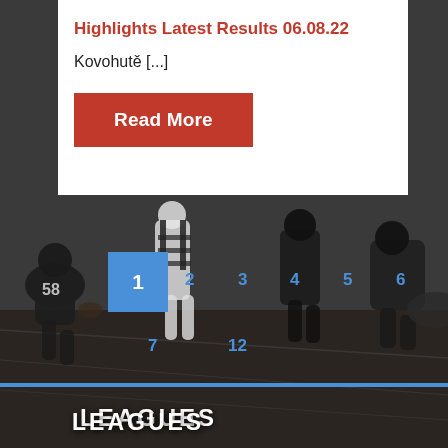[Figure (photo): Black and white photograph of a football game showing players in action, including a referee in striped uniform and players tackling and running on the field.]
Highlights Latest Results 06.08.22
Kovohutě [...]
Read More
1
2
3
4
5
6
7
12
Next
LEAGUES